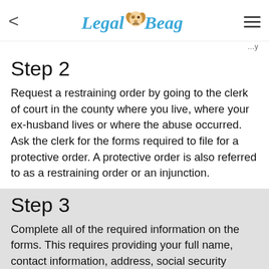Legal Beagle
Step 2
Request a restraining order by going to the clerk of court in the county where you live, where your ex-husband lives or where the abuse occurred. Ask the clerk for the forms required to file for a protective order. A protective order is also referred to as a restraining order or an injunction.
Step 3
Complete all of the required information on the forms. This requires providing your full name, contact information, address, social security